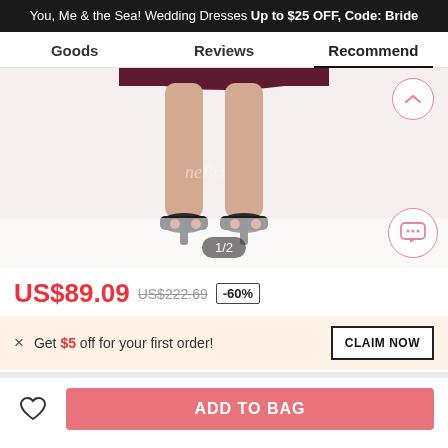You, Me & the Sea! Wedding Dresses Up to $25 OFF, Code: Bride
Goods | Reviews | Recommend
[Figure (photo): Product photo showing lower half of a woman wearing a dark maroon/burgundy dress with black high heel shoes, white background, watermark 'neBri' visible]
1/2
US$89.09  US$222.69  -60%
Get $5 off for your first order!
CLAIM NOW
ADD TO BAG